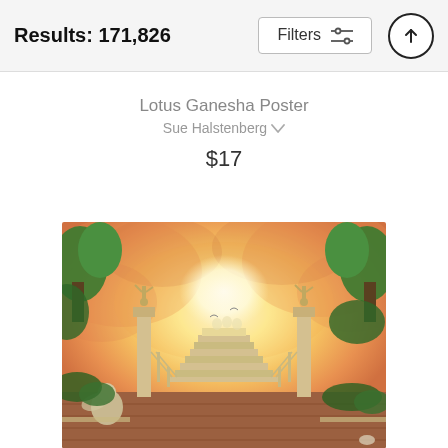Results: 171,826
Filters
Lotus Ganesha Poster
Sue Halstenberg
$17
[Figure (illustration): Fantasy landscape painting showing grand stone staircase leading toward bright glowing light, flanked by stone pillars with winged angel statues on top, lush green trees, orange and yellow dramatic sky, cobblestone path in foreground with a cherub statue on the left, silhouettes of figures at the top of the staircase in the glowing light.]